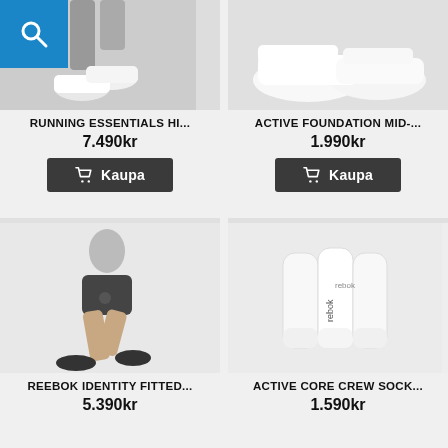[Figure (photo): Top portion of a product card showing running shoes/legs, with a blue search icon overlay in top-left corner. Product: RUNNING ESSENTIALS HI...]
RUNNING ESSENTIALS HI...
7.490kr
[Figure (photo): Top portion of a product card showing white shoes. Product: ACTIVE FOUNDATION MID-...]
ACTIVE FOUNDATION MID-...
1.990kr
[Figure (photo): Product photo of a woman running wearing dark Reebok fitted shorts and black sneakers on a white background. Product: REEBOK IDENTITY FITTED...]
REEBOK IDENTITY FITTED...
5.390kr
[Figure (photo): Product photo of white Reebok crew socks on a white background. Product: ACTIVE CORE CREW SOCK...]
ACTIVE CORE CREW SOCK...
1.590kr